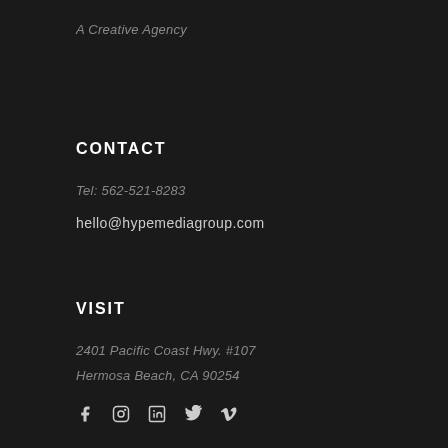A Creative Agency
CONTACT
Tel: 562-521-8283
hello@hypemediagroup.com
VISIT
2401 Pacific Coast Hwy. #107
Hermosa Beach, CA 90254
[Figure (other): Social media icons: Facebook, Instagram, LinkedIn, Twitter, Vimeo]